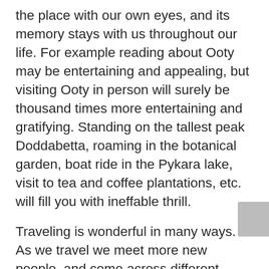the place with our own eyes, and its memory stays with us throughout our life. For example reading about Ooty may be entertaining and appealing, but visiting Ooty in person will surely be thousand times more entertaining and gratifying. Standing on the tallest peak Doddabetta, roaming in the botanical garden, boat ride in the Pykara lake, visit to tea and coffee plantations, etc. will fill you with ineffable thrill.
Traveling is wonderful in many ways. As we travel we meet more new people, and come across different cultures, and lifestyles. With all the newness in our life, we are also opened to new insights, outlook and perception of the world and living, which often gives us a new purpose for our lives. While travelling, we have to be prepared for